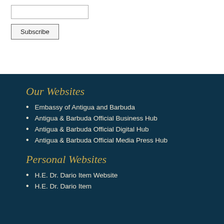[input field]
Subscribe
Our Websites
Embassy of Antigua and Barbuda
Antigua & Barbuda Official Business Hub
Antigua & Barbuda Official Digital Hub
Antigua & Barbuda Official Media Press Hub
Personal Websites
H.E. Dr. Dario Item Website
H.E. Dr. Dario Item